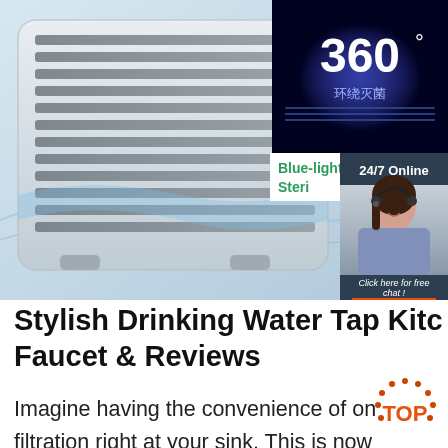[Figure (photo): Product marketing webpage screenshot showing an air purifier/water dispenser appliance on the left, a 360-degree blue-light sterilization product box on the upper right, a '24/7 Online' customer support chat widget on the right side featuring a female agent with headset, and a 'Blue-light Steri...' label. Below is page content.]
Stylish Drinking Water Tap Kitc... Faucet & Reviews
Imagine having the convenience of on... filtration right at your sink. This is now... with our new cold water tap kitchen fa... from premium stainless steel, this faucet has a sturdy and durable structure. This water dispenser is tough and made to last for many years to come. It's slim and minimalist design will fit perfectly beside your kitchen faucet, it will not